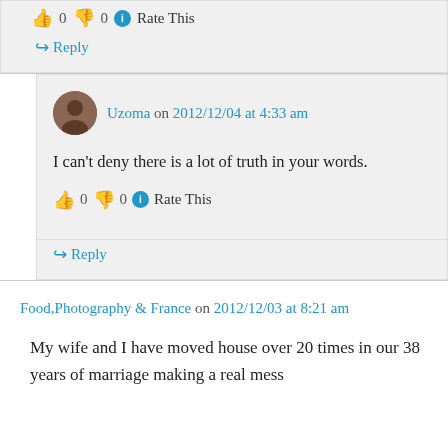0  0  Rate This
↳ Reply
Uzoma on 2012/12/04 at 4:33 am
I can't deny there is a lot of truth in your words.
👍 0 👎 0 ⓘ Rate This
↳ Reply
Food,Photography & France on 2012/12/03 at 8:21 am
My wife and I have moved house over 20 times in our 38 years of marriage making a real mess